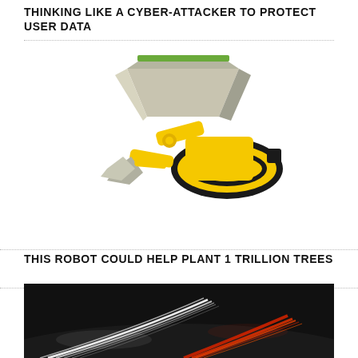THINKING LIKE A CYBER-ATTACKER TO PROTECT USER DATA
[Figure (illustration): Yellow tracked robot with mechanical arm and hopper/seed container on top, designed for autonomous tree planting]
THIS ROBOT COULD HELP PLANT 1 TRILLION TREES
[Figure (photo): Long exposure photograph of a highway at night showing streaks of white and red lights from moving vehicles]